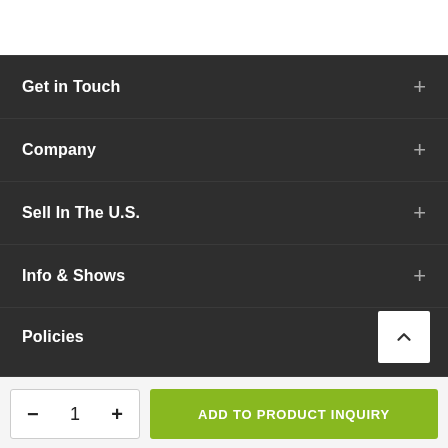Get in Touch
Company
Sell In The U.S.
Info & Shows
Policies
− 1 +
ADD TO PRODUCT INQUIRY